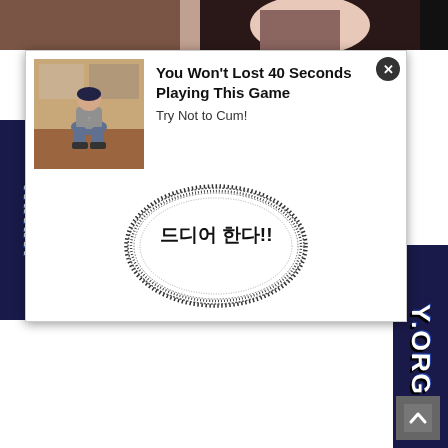[Figure (illustration): Top banner strip showing partial anime/manga character illustration in brown and skin tones]
[Figure (photo): Ad thumbnail photo showing a person crouching on the floor in a room]
You Won't Lost 40 Seconds Playing This Game
Try Not to Cum!
[Figure (illustration): Circular stamp/seal graphic with Korean text '드디어 한다!!' in the center, surrounded by dotted circular border]
[Figure (illustration): Left vertical side banner with stylized 'www' text in white on dark blue background]
[Figure (illustration): Right vertical side banner with stylized 'Y.ORG' text in white on dark blue background]
[Figure (illustration): Scroll-to-top arrow button in grey at bottom right]